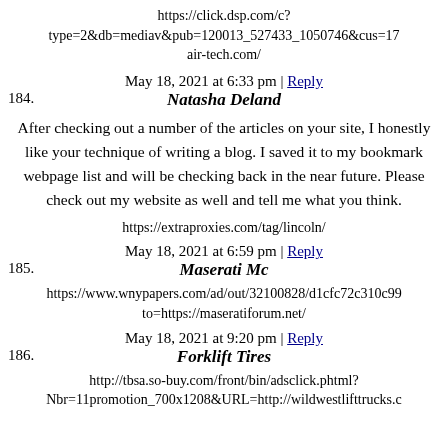https://click.dsp.com/c?type=2&db=mediav&pub=120013_527433_1050746&cus=17 air-tech.com/
May 18, 2021 at 6:33 pm | Reply
184. Natasha Deland
After checking out a number of the articles on your site, I honestly like your technique of writing a blog. I saved it to my bookmark webpage list and will be checking back in the near future. Please check out my website as well and tell me what you think.
https://extraproxies.com/tag/lincoln/
May 18, 2021 at 6:59 pm | Reply
185. Maserati Mc
https://www.wnypapers.com/ad/out/32100828/d1cfc72c310c99 to=https://maseratiforum.net/
May 18, 2021 at 9:20 pm | Reply
186. Forklift Tires
http://tbsa.so-buy.com/front/bin/adsclick.phtml? Nbr=11promotion_700x1208&URL=http://wildwestlifttrucks.c